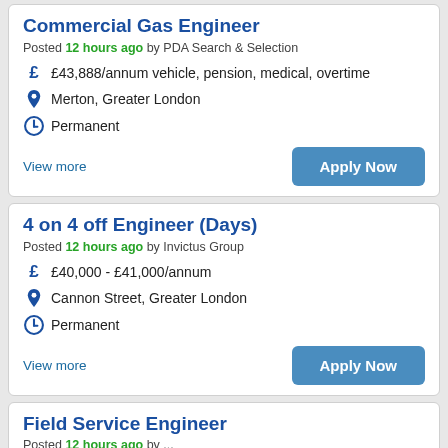Commercial Gas Engineer
Posted 12 hours ago by PDA Search & Selection
£43,888/annum vehicle, pension, medical, overtime
Merton, Greater London
Permanent
View more
4 on 4 off Engineer (Days)
Posted 12 hours ago by Invictus Group
£40,000 - £41,000/annum
Cannon Street, Greater London
Permanent
View more
Field Service Engineer
Posted 12 hours ago by ...